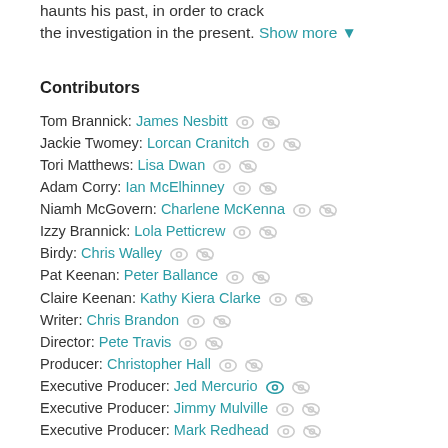haunts his past, in order to crack the investigation in the present. Show more ▼
Contributors
Tom Brannick: James Nesbitt
Jackie Twomey: Lorcan Cranitch
Tori Matthews: Lisa Dwan
Adam Corry: Ian McElhinney
Niamh McGovern: Charlene McKenna
Izzy Brannick: Lola Petticrew
Birdy: Chris Walley
Pat Keenan: Peter Ballance
Claire Keenan: Kathy Kiera Clarke
Writer: Chris Brandon
Director: Pete Travis
Producer: Christopher Hall
Executive Producer: Jed Mercurio
Executive Producer: Jimmy Mulville
Executive Producer: Mark Redhead